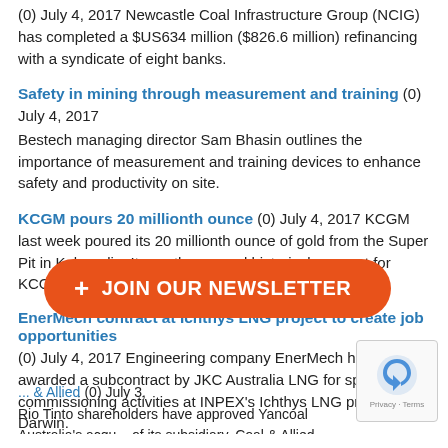(0) July 4, 2017 Newcastle Coal Infrastructure Group (NCIG) has completed a $US634 million ($826.6 million) refinancing with a syndicate of eight banks.
Safety in mining through measurement and training (0) July 4, 2017 Bestech managing director Sam Bhasin outlines the importance of measurement and training devices to enhance safety and productivity on site.
KCGM pours 20 millionth ounce (0) July 4, 2017 KCGM last week poured its 20 millionth ounce of gold from the Super Pit in Kalgoorlie. It was the second historical moment for KCGM in June. The company poured its ...
EnerMech contract at Ichthys LNG project to create job opportunities (0) July 4, 2017 Engineering company EnerMech has been awarded a subcontract by JKC Australia LNG for specialist commissioning activities at INPEX's Ichthys LNG project at Darwin.
WA Garnet producer enters renewable energy deal (0) July 3, 2017 Advanced Energy Resources (AER) has signed a long term power purchase agreement with GMA Garnet, which will see the construction of a three megawatt wind and solar farm in Western ...
Boart Longyear hands-free solution improves safety performance (0) July 3, 2017 Boart Longyear's Zachary Strauss discusses how the company's latest drill rig and loader solutions work together to reduce th...
... & Allied (0) July 3, ... Rio Tinto shareholders have approved Yancoal Australia's acquisition of its subsidiary, Coal & Allied Industries, which owns majority shares in the Hunter Valley, Mount Thorley and Wardsworth coal mines ...